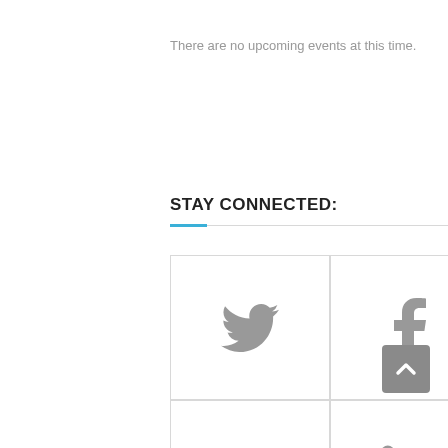There are no upcoming events at this time.
STAY CONNECTED:
[Figure (infographic): Six social media icon tiles in a 2x3 grid: Twitter, Facebook, YouTube, LinkedIn, Vimeo, Instagram — all in gray on white bordered squares]
[Figure (illustration): Back-to-top button: gray rounded square with white upward chevron, bottom-right corner]